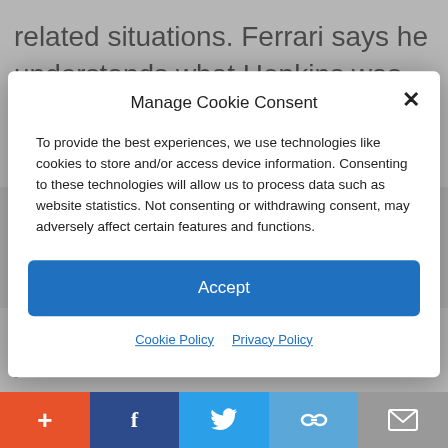related situations. Ferrari says he understands what Hopkins was trying to accomplish but did not endorse UCP's
Manage Cookie Consent
To provide the best experiences, we use technologies like cookies to store and/or access device information. Consenting to these technologies will allow us to process data such as website statistics. Not consenting or withdrawing consent, may adversely affect certain features and functions.
Accept
Cookie Policy  Privacy Policy
shortest distance for illegal immigrants and then inform